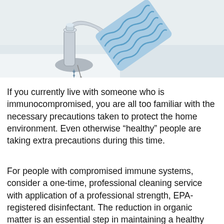[Figure (photo): Close-up photo of a chrome bathroom faucet with a blue and white wavy-patterned cloth/sponge being used to clean it, over a white bathtub surface.]
If you currently live with someone who is immunocompromised, you are all too familiar with the necessary precautions taken to protect the home environment. Even otherwise “healthy” people are taking extra precautions during this time.
For people with compromised immune systems, consider a one-time, professional cleaning service with application of a professional strength, EPA-registered disinfectant. The reduction in organic matter is an essential step in maintaining a healthy chain of defense